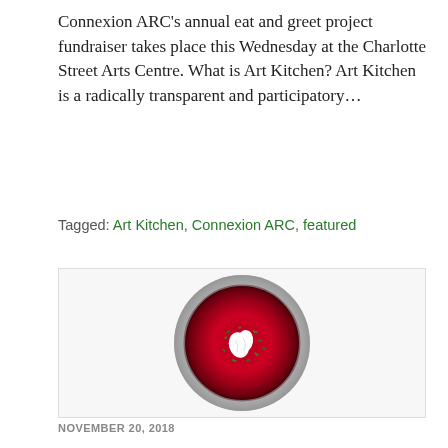Connexion ARC's annual eat and greet project fundraiser takes place this Wednesday at the Charlotte Street Arts Centre. What is Art Kitchen? Art Kitchen is a radically transparent and participatory…
Tagged: Art Kitchen, Connexion ARC, featured
[Figure (photo): A circular plate viewed from above. The plate has a speckled gray rim and contains a deep crimson/red soup. In the center of the soup are garnishes: a white irregular shape (possibly a piece of food) surrounded by scattered green herb pieces.]
NOVEMBER 20, 2018